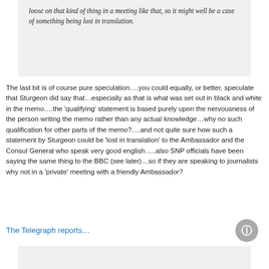loose on that kind of thing in a meeting like that, so it might well be a case of something being lost in translation.
The last bit is of course pure speculation….you could equally, or better, speculate that Sturgeon did say that…especially as that is what was set out in black and white in the memo….the 'qualifying' statement is based purely upon the nervousness of the person writing the memo rather than any actual knowledge…why no such qualification for other parts of the memo?….and not quite sure how such a statement by Sturgeon could be 'lost in translation' to the Ambassador and the Consul General who speak very good english…..also SNP officials have been saying the same thing to the BBC (see later)…so if they are speaking to journalists why not in a 'private' meeting with a friendly Ambassador?
The Telegraph reports…